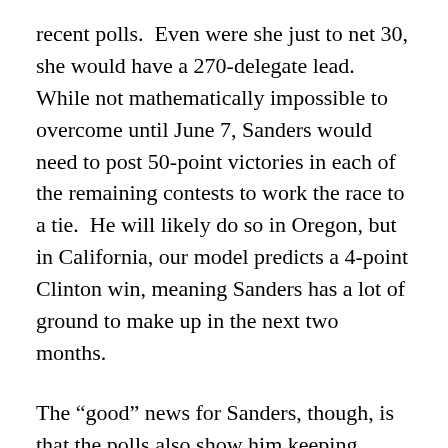recent polls.  Even were she just to net 30, she would have a 270-delegate lead.  While not mathematically impossible to overcome until June 7, Sanders would need to post 50-point victories in each of the remaining contests to work the race to a tie.  He will likely do so in Oregon, but in California, our model predicts a 4-point Clinton win, meaning Sanders has a lot of ground to make up in the next two months.
The “good” news for Sanders, though, is that the polls also show him keeping Clinton around 200 delegates short of what she needs to win the nomination on pledged delegates alone.  It’s very likely that she has the super delegates needed to carry her over on the first ballot, but